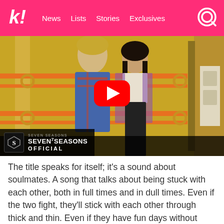k! News Lists Stories Exclusives
[Figure (screenshot): YouTube video thumbnail showing two people in an elevator scene with a red YouTube play button overlay and SEVEN7SEASONS OFFICIAL watermark in the bottom left corner]
The title speaks for itself; it's a sound about soulmates. A song that talks about being stuck with each other, both in full times and in dull times. Even if the two fight, they'll stick with each other through thick and thin. Even if they have fun days without them, in the end, they still want to be with them. It's a sweet song about